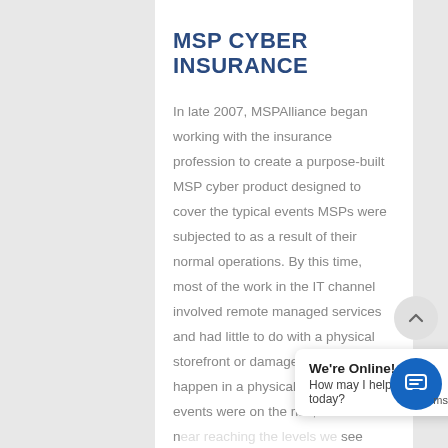MSP CYBER INSURANCE
In late 2007, MSPAlliance began working with the insurance profession to create a purpose-built MSP cyber product designed to cover the typical events MSPs were subjected to as a result of their normal operations. By this time, most of the work in the IT channel involved remote managed services and had little to do with a physical storefront or damage, which would happen in a physical location. Cyber events were on the rise, but nowhere near reaching the levels we see today.